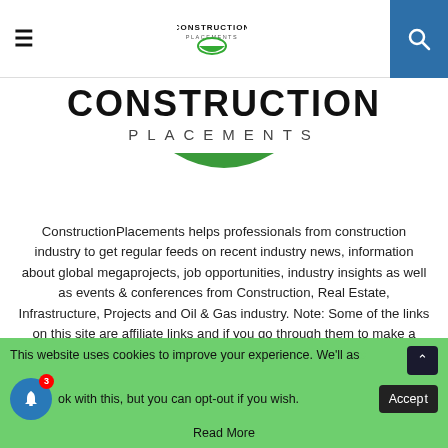[Figure (logo): Construction Placements logo with hamburger menu and search icon in top navigation bar]
CONSTRUCTION PLACEMENTS
ConstructionPlacements helps professionals from construction industry to get regular feeds on recent industry news, information about global megaprojects, job opportunities, industry insights as well as events & conferences from Construction, Real Estate, Infrastructure, Projects and Oil & Gas industry. Note: Some of the links on this site are affiliate links and if you go through them to make a purchase we will earn a commission.
Contact us: construplacements@gmail.com
[Figure (other): Social media share buttons strip (Facebook, Twitter, Instagram, LinkedIn, Twitter/X, Pinterest, Telegram)]
This website uses cookies to improve your experience. We'll assume you're ok with this, but you can opt-out if you wish. Read More